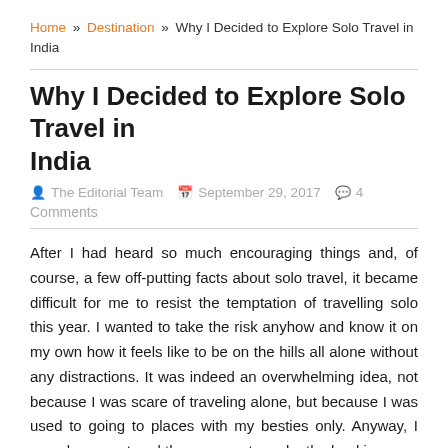Home » Destination » Why I Decided to Explore Solo Travel in India
Why I Decided to Explore Solo Travel in India
The Editorial Team   September 29, 2017   4 Comments
After I had heard so much encouraging things and, of course, a few off-putting facts about solo travel, it became difficult for me to resist the temptation of travelling solo this year. I wanted to take the risk anyhow and know it on my own how it feels like to be on the hills all alone without any distractions. It was indeed an overwhelming idea, not because I was scare of traveling alone, but because I was used to going to places with my besties only. Anyway, I somehow mustered the courage to make the bookings